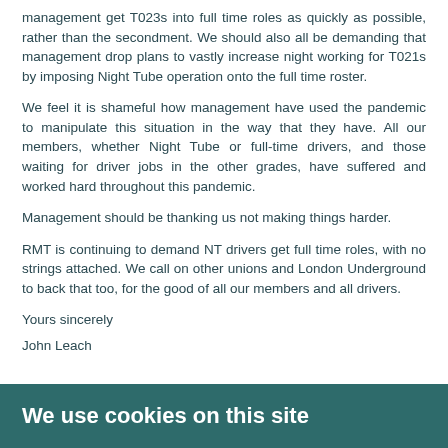management get T023s into full time roles as quickly as possible, rather than the secondment. We should also all be demanding that management drop plans to vastly increase night working for T021s by imposing Night Tube operation onto the full time roster.
We feel it is shameful how management have used the pandemic to manipulate this situation in the way that they have. All our members, whether Night Tube or full-time drivers, and those waiting for driver jobs in the other grades, have suffered and worked hard throughout this pandemic.
Management should be thanking us not making things harder.
RMT is continuing to demand NT drivers get full time roles, with no strings attached. We call on other unions and London Underground to back that too, for the good of all our members and all drivers.
Yours sincerely
John Leach
We use cookies on this site